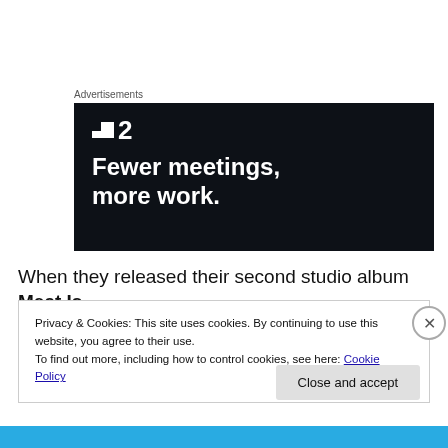Advertisements
[Figure (screenshot): Dark advertisement banner for a product called '2' (shown as a logo with two squares and the number 2). Tagline reads: Fewer meetings, more work.]
When they released their second studio album Meat Is
Privacy & Cookies: This site uses cookies. By continuing to use this website, you agree to their use.
To find out more, including how to control cookies, see here: Cookie Policy
Close and accept